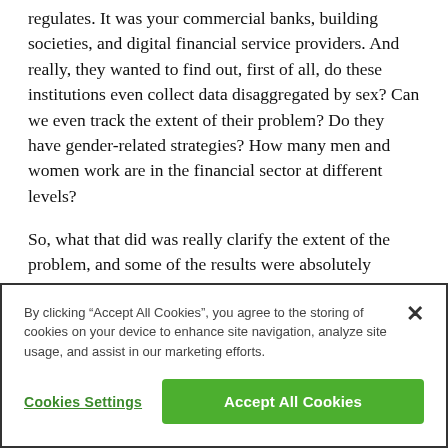regulates. It was your commercial banks, building societies, and digital financial service providers. And really, they wanted to find out, first of all, do these institutions even collect data disaggregated by sex? Can we even track the extent of their problem? Do they have gender-related strategies? How many men and women work are in the financial sector at different levels?
So, what that did was really clarify the extent of the problem, and some of the results were absolutely surprising even for people who had worked in the space for a while. For example, we found out that the financial sector is largely
By clicking “Accept All Cookies”, you agree to the storing of cookies on your device to enhance site navigation, analyze site usage, and assist in our marketing efforts.
Cookies Settings
Accept All Cookies